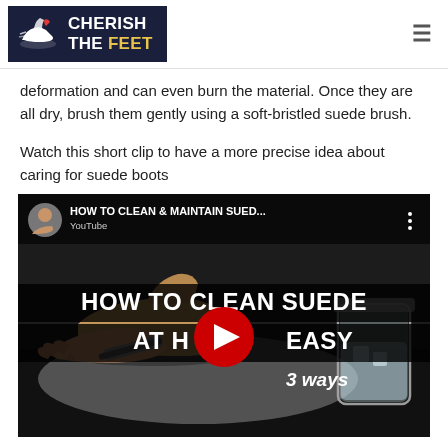CHERISH THE FEET
deformation and can even burn the material. Once they are all dry, brush them gently using a soft-bristled suede brush.
Watch this short clip to have a more precise idea about caring for suede boots
[Figure (screenshot): YouTube video thumbnail showing HOW TO CLEAN & MAINTAIN SUED... with title HOW TO CLEAN SUEDE AT H... EASY 3 ways, featuring a hand cleaning a suede shoe with a brush, a glass jar, and a YouTube play button overlay.]